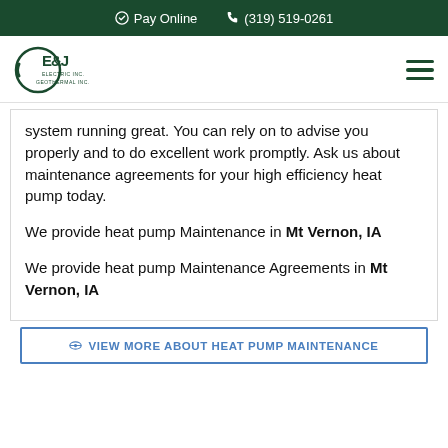Pay Online  (319) 519-0261
[Figure (logo): E&J Electric Inc. Geothermal Inc. company logo with circular icon]
system running great. You can rely on to advise you properly and to do excellent work promptly. Ask us about maintenance agreements for your high efficiency heat pump today.
We provide heat pump Maintenance in Mt Vernon, IA
We provide heat pump Maintenance Agreements in Mt Vernon, IA
VIEW MORE ABOUT HEAT PUMP MAINTENANCE